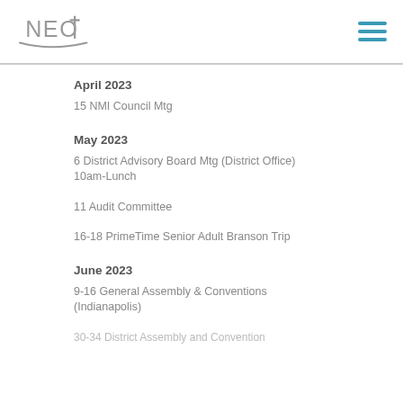NEO [logo with cross]
April 2023
15 NMI Council Mtg
May 2023
6 District Advisory Board Mtg (District Office) 10am-Lunch
11 Audit Committee
16-18 PrimeTime Senior Adult Branson Trip
June 2023
9-16 General Assembly & Conventions (Indianapolis)
30-34 District Assembly and Convention